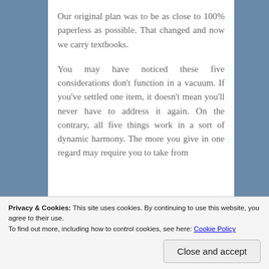Our original plan was to be as close to 100% paperless as possible. That changed and now we carry textbooks.
You may have noticed these five considerations don't function in a vacuum. If you've settled one item, it doesn't mean you'll never have to address it again. On the contrary, all five things work in a sort of dynamic harmony. The more you give in one regard may require you to take from
Privacy & Cookies: This site uses cookies. By continuing to use this website, you agree to their use.
To find out more, including how to control cookies, see here: Cookie Policy
Close and accept
You may be able to solve the internet